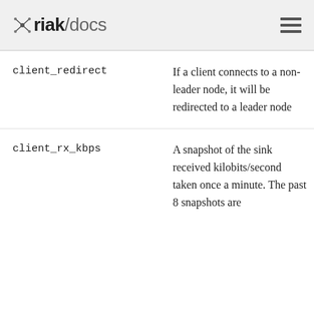riak/docs
| Parameter | Description |
| --- | --- |
| client_redirect | If a client connects to a non-leader node, it will be redirected to a leader node |
| client_rx_kbps | A snapshot of the sink received kilobits/second taken once a minute. The past 8 snapshots are |